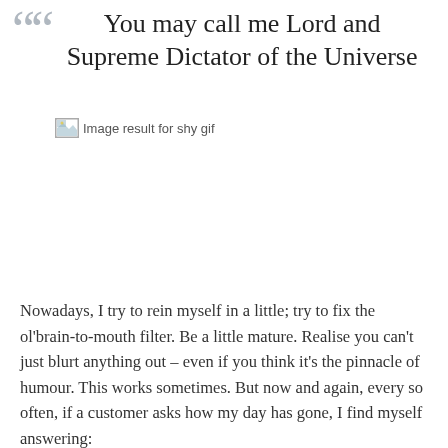You may call me Lord and Supreme Dictator of the Universe
[Figure (other): Broken/unloaded image placeholder with alt text 'Image result for shy gif']
Nowadays, I try to rein myself in a little; try to fix the ol'brain-to-mouth filter. Be a little mature. Realise you can't just blurt anything out – even if you think it's the pinnacle of humour. This works sometimes. But now and again, every so often, if a customer asks how my day has gone, I find myself answering: